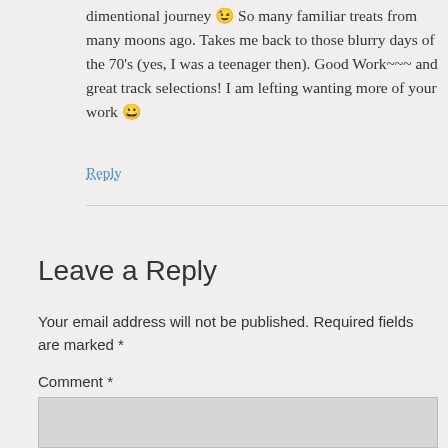dimentional journey 😉 So many familiar treats from many moons ago. Takes me back to those blurry days of the 70's (yes, I was a teenager then). Good Work~~~ and great track selections! I am lefting wanting more of your work 😀
Reply
Leave a Reply
Your email address will not be published. Required fields are marked *
Comment *